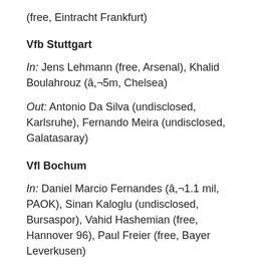(free, Eintracht Frankfurt)
Vfb Stuttgart
In: Jens Lehmann (free, Arsenal), Khalid Boulahrouz (â,¬5m, Chelsea)
Out: Antonio Da Silva (undisclosed, Karlsruhe), Fernando Meira (undisclosed, Galatasaray)
Vfl Bochum
In: Daniel Marcio Fernandes (â,¬1.1 mil, PAOK), Sinan Kaloglu (undisclosed, Bursaspor), Vahid Hashemian (free, Hannover 96), Paul Freier (free, Bayer Leverkusen)
Out: